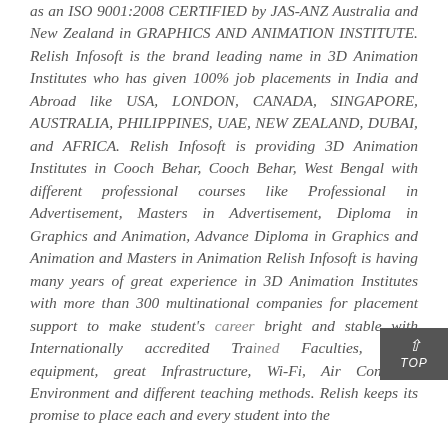as an ISO 9001:2008 CERTIFIED by JAS-ANZ Australia and New Zealand in GRAPHICS AND ANIMATION INSTITUTE. Relish Infosoft is the brand leading name in 3D Animation Institutes who has given 100% job placements in India and Abroad like USA, LONDON, CANADA, SINGAPORE, AUSTRALIA, PHILIPPINES, UAE, NEW ZEALAND, DUBAI, and AFRICA. Relish Infosoft is providing 3D Animation Institutes in Cooch Behar, Cooch Behar, West Bengal with different professional courses like Professional in Advertisement, Masters in Advertisement, Diploma in Graphics and Animation, Advance Diploma in Graphics and Animation and Masters in Animation Relish Infosoft is having many years of great experience in 3D Animation Institutes with more than 300 multinational companies for placement support to make student's career bright and stable with Internationally accredited Trained Faculties, latest equipment, great Infrastructure, Wi-Fi, Air Condition Environment and different teaching methods. Relish keeps its promise to place each and every student into the